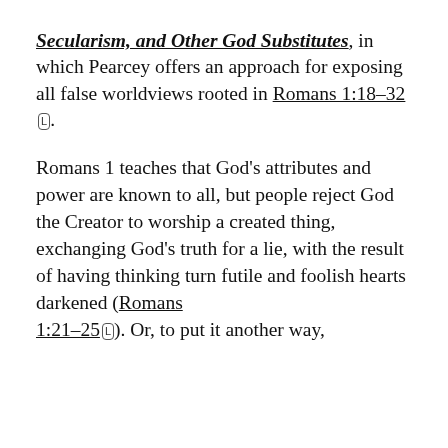Secularism, and Other God Substitutes, in which Pearcey offers an approach for exposing all false worldviews rooted in Romans 1:18–32 [L].
Romans 1 teaches that God's attributes and power are known to all, but people reject God the Creator to worship a created thing, exchanging God's truth for a lie, with the result of having thinking turn futile and foolish hearts darkened (Romans 1:21–25 [L]). Or, to put it another way,